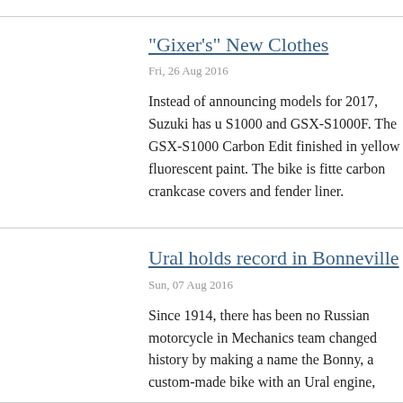"Gixer's" New Clothes
Fri, 26 Aug 2016
Instead of announcing models for 2017, Suzuki has u S1000 and GSX-S1000F. The GSX-S1000 Carbon Edit finished in yellow fluorescent paint. The bike is fitte carbon crankcase covers and fender liner.
Ural holds record in Bonneville
Sun, 07 Aug 2016
Since 1914, there has been no Russian motorcycle in Mechanics team changed history by making a name the Bonny, a custom-made bike with an Ural engine,